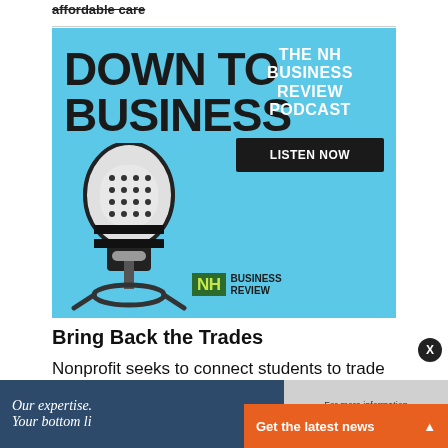affordable care
[Figure (illustration): DOWN TO BUSINESS podcast advertisement for The NH Business Review Podcast featuring a vintage microphone illustration on a light blue background with 'LISTEN NOW' button]
Bring Back the Trades
Nonprofit seeks to connect students to trade industries to fill urgent need for workers
[Figure (infographic): Bottom advertisement banner: 'Our expertise. Your bottom li...' with 'For more information click here' and orange 'Get the latest news' button]